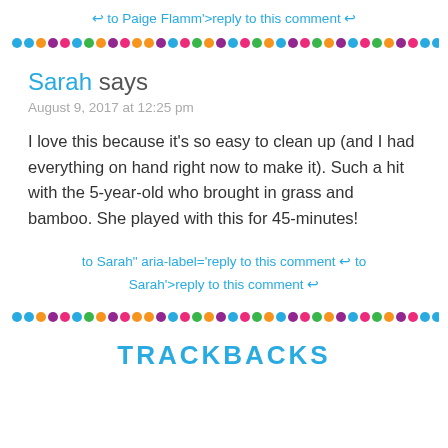↩ to Paige Flamm'>reply to this comment ↩
[Figure (illustration): Colorful dotted separator line with repeating multicolor dots]
Sarah says
August 9, 2017 at 12:25 pm
I love this because it's so easy to clean up (and I had everything on hand right now to make it). Such a hit with the 5-year-old who brought in grass and bamboo. She played with this for 45-minutes!
to Sarah" aria-label='reply to this comment ↩ to Sarah'>reply to this comment ↩
[Figure (illustration): Colorful dotted separator line with repeating multicolor dots]
TRACKBACKS